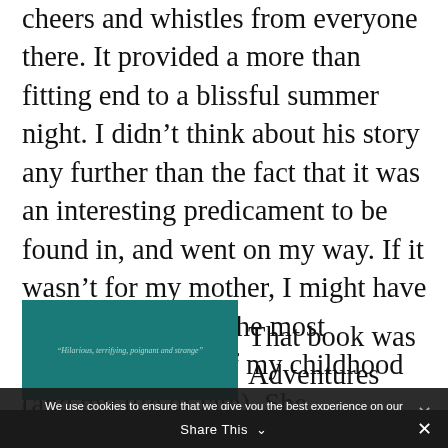cheers and whistles from everyone there. It provided a more than fitting end to a blissful summer night. I didn't think about his story any further than the fact that it was an interesting predicament to be found in, and went on my way. If it wasn't for my mother, I might have never read one of the most important books of my childhood (and my life of late). She approached the author, bought a copy and even snagged an autograph.
[Figure (photo): Partial view of a book cover with teal/dark green background and small italic text reading a quote or subtitle.]
That book was Adventures
We use cookies to ensure that we give you the best experience on our website. If you continue to use this site we will assume that you are happy with it.
Share This